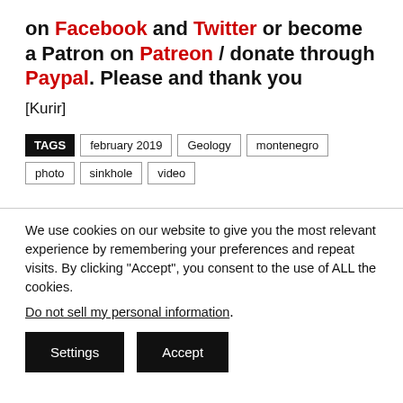on Facebook and Twitter or become a Patron on Patreon / donate through Paypal. Please and thank you
[Kurir]
TAGS  february 2019  Geology  montenegro  photo  sinkhole  video
We use cookies on our website to give you the most relevant experience by remembering your preferences and repeat visits. By clicking "Accept", you consent to the use of ALL the cookies.
Do not sell my personal information.
Settings  Accept